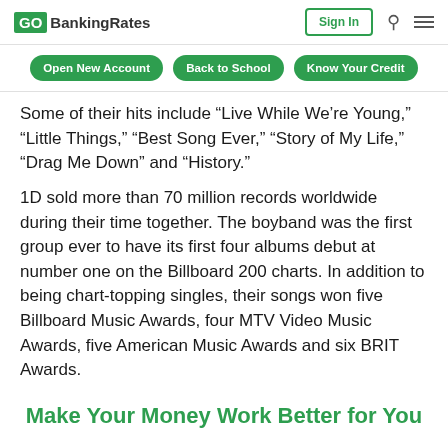GOBankingRates | Sign In
Open New Account   Back to School   Know Your Credit
Some of their hits include “Live While We’re Young,” “Little Things,” “Best Song Ever,” “Story of My Life,” “Drag Me Down” and “History.”
1D sold more than 70 million records worldwide during their time together. The boyband was the first group ever to have its first four albums debut at number one on the Billboard 200 charts. In addition to being chart-topping singles, their songs won five Billboard Music Awards, four MTV Video Music Awards, five American Music Awards and six BRIT Awards.
Make Your Money Work Better for You